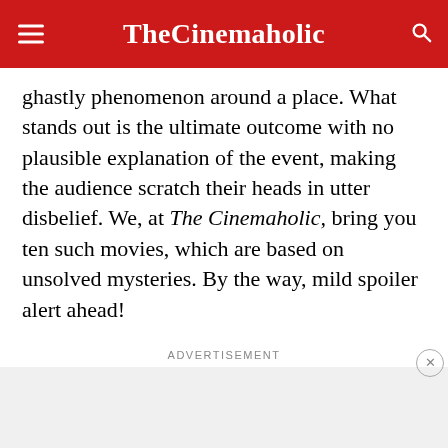TheCinemaholic
ghastly phenomenon around a place. What stands out is the ultimate outcome with no plausible explanation of the event, making the audience scratch their heads in utter disbelief. We, at The Cinemaholic, bring you ten such movies, which are based on unsolved mysteries. By the way, mild spoiler alert ahead!
ADVERTISEMENT